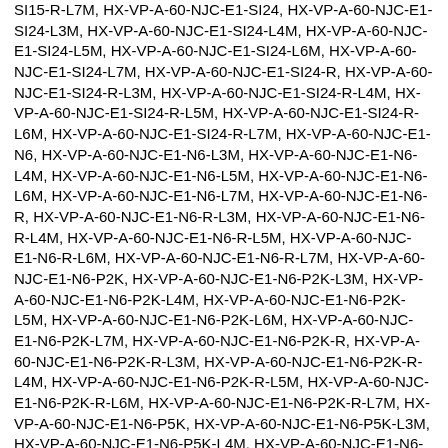SI15-R-L7M, HX-VP-A-60-NJC-E1-SI24, HX-VP-A-60-NJC-E1-SI24-L3M, HX-VP-A-60-NJC-E1-SI24-L4M, HX-VP-A-60-NJC-E1-SI24-L5M, HX-VP-A-60-NJC-E1-SI24-L6M, HX-VP-A-60-NJC-E1-SI24-L7M, HX-VP-A-60-NJC-E1-SI24-R, HX-VP-A-60-NJC-E1-SI24-R-L3M, HX-VP-A-60-NJC-E1-SI24-R-L4M, HX-VP-A-60-NJC-E1-SI24-R-L5M, HX-VP-A-60-NJC-E1-SI24-R-L6M, HX-VP-A-60-NJC-E1-SI24-R-L7M, HX-VP-A-60-NJC-E1-N6, HX-VP-A-60-NJC-E1-N6-L3M, HX-VP-A-60-NJC-E1-N6-L4M, HX-VP-A-60-NJC-E1-N6-L5M, HX-VP-A-60-NJC-E1-N6-L6M, HX-VP-A-60-NJC-E1-N6-L7M, HX-VP-A-60-NJC-E1-N6-R, HX-VP-A-60-NJC-E1-N6-R-L3M, HX-VP-A-60-NJC-E1-N6-R-L4M, HX-VP-A-60-NJC-E1-N6-R-L5M, HX-VP-A-60-NJC-E1-N6-R-L6M, HX-VP-A-60-NJC-E1-N6-R-L7M, HX-VP-A-60-NJC-E1-N6-P2K, HX-VP-A-60-NJC-E1-N6-P2K-L3M, HX-VP-A-60-NJC-E1-N6-P2K-L4M, HX-VP-A-60-NJC-E1-N6-P2K-L5M, HX-VP-A-60-NJC-E1-N6-P2K-L6M, HX-VP-A-60-NJC-E1-N6-P2K-L7M, HX-VP-A-60-NJC-E1-N6-P2K-R, HX-VP-A-60-NJC-E1-N6-P2K-R-L3M, HX-VP-A-60-NJC-E1-N6-P2K-R-L4M, HX-VP-A-60-NJC-E1-N6-P2K-R-L5M, HX-VP-A-60-NJC-E1-N6-P2K-R-L6M, HX-VP-A-60-NJC-E1-N6-P2K-R-L7M, HX-VP-A-60-NJC-E1-N6-P5K, HX-VP-A-60-NJC-E1-N6-P5K-L3M, HX-VP-A-60-NJC-E1-N6-P5K-L4M, HX-VP-A-60-NJC-E1-N6-P5K-L5M, HX-VP-A-60-NJC-E1-N6-P5K-L6M, HX-VP-A-60-NJC-E1-N6-P5K-L7M, HX-VP-A-60-NJC-E1-N6-P5K-R, HX-VP-A-60-NJC-E1-N6-P5K-R-L4M